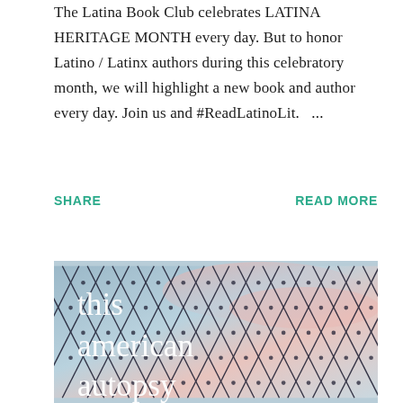The Latina Book Club celebrates LATINA HERITAGE MONTH every day. But to honor Latino / Latinx authors during this celebratory month, we will highlight a new book and author every day. Join us and #ReadLatinoLit.   ...
SHARE
READ MORE
[Figure (illustration): Book cover image for 'this american autopsy' showing white serif text overlaid on a chain-link fence with a blue-pink sky background]